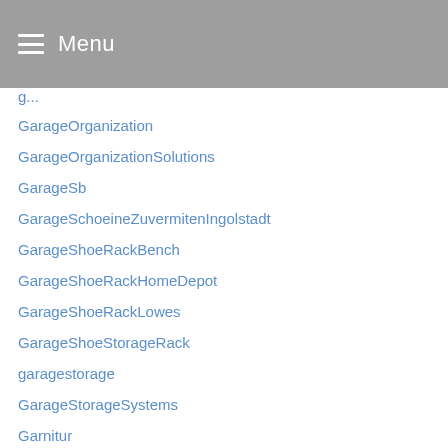Menu
GarageOrganization
GarageOrganizationSolutions
GarageSb
GarageSchoeineZuvermitenIngolstadt
GarageShoeRackBench
GarageShoeRackHomeDepot
GarageShoeRackLowes
GarageShoeStorageRack
garagestorage
GarageStorageSystems
Garnitur
Garten
Gartengarnituren
Gartenm
GasStorageAustralia
GasStorageConsulting